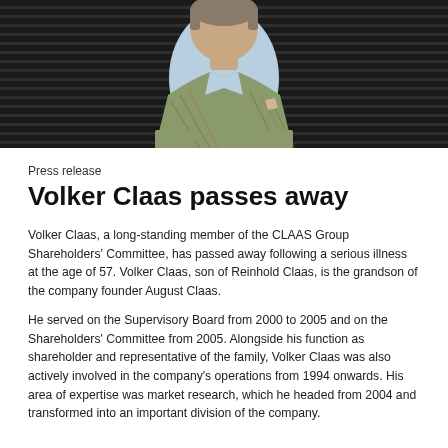[Figure (photo): Portrait photo of Volker Claas wearing a green/brown plaid tweed jacket with red windowpane pattern and a light blue shirt, photographed against a dark striped background]
Press release
Volker Claas passes away
Volker Claas, a long-standing member of the CLAAS Group Shareholders' Committee, has passed away following a serious illness at the age of 57. Volker Claas, son of Reinhold Claas, is the grandson of the company founder August Claas.
He served on the Supervisory Board from 2000 to 2005 and on the Shareholders' Committee from 2005. Alongside his function as shareholder and representative of the family, Volker Claas was also actively involved in the company's operations from 1994 onwards. His area of expertise was market research, which he headed from 2004 and transformed into an important division of the company.